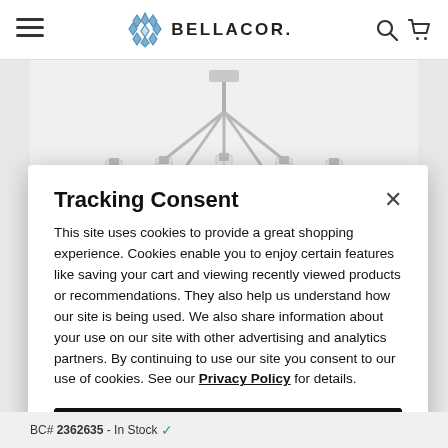BELLACOR.
[Figure (photo): Chandelier light fixture with chrome/polished nickel ring frame and multiple vertical glass cylinder shades, viewed from below-front angle against white background.]
Tracking Consent
This site uses cookies to provide a great shopping experience. Cookies enable you to enjoy certain features like saving your cart and viewing recently viewed products or recommendations. They also help us understand how our site is being used. We also share information about your use on our site with other advertising and analytics partners. By continuing to use our site you consent to our use of cookies. See our Privacy Policy for details.
Continue
BC# 2362635 - In Stock ✓